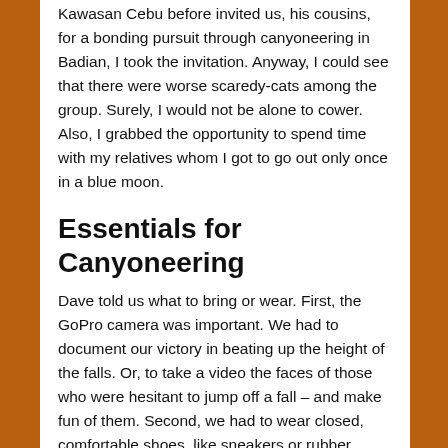Kawasan Cebu before invited us, his cousins, for a bonding pursuit through canyoneering in Badian, I took the invitation. Anyway, I could see that there were worse scaredy-cats among the group. Surely, I would not be alone to cower. Also, I grabbed the opportunity to spend time with my relatives whom I got to go out only once in a blue moon.
Essentials for Canyoneering
Dave told us what to bring or wear. First, the GoPro camera was important. We had to document our victory in beating up the height of the falls. Or, to take a video the faces of those who were hesitant to jump off a fall – and make fun of them. Second, we had to wear closed, comfortable shoes, like sneakers or rubber shoes. Third, a dry bag would be helpful to keep your belongings safe and dry for the water dipping.